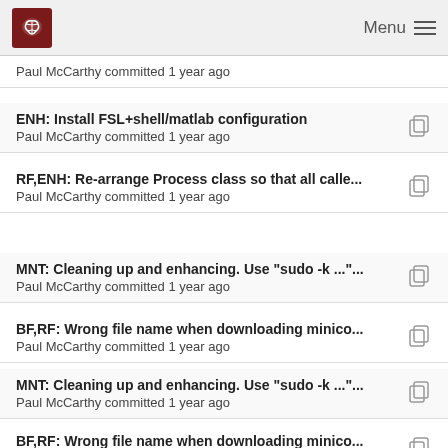Menu
Paul McCarthy committed 1 year ago
ENH: Install FSL+shell/matlab configuration
Paul McCarthy committed 1 year ago
RF,ENH: Re-arrange Process class so that all calle...
Paul McCarthy committed 1 year ago
MNT: Cleaning up and enhancing. Use "sudo -k ..."...
Paul McCarthy committed 1 year ago
BF,RF: Wrong file name when downloading minico...
Paul McCarthy committed 1 year ago
MNT: Cleaning up and enhancing. Use "sudo -k ..."...
Paul McCarthy committed 1 year ago
BF,RF: Wrong file name when downloading minico...
Paul McCarthy committed 1 year ago